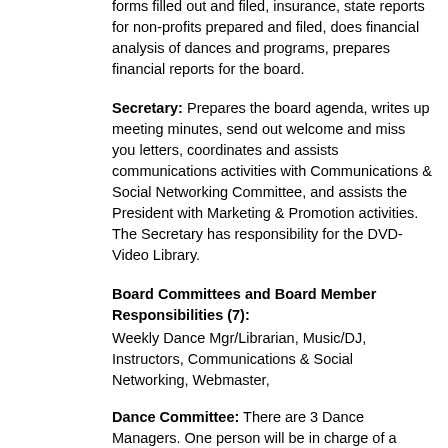forms filled out and filed, insurance, state reports for non-profits prepared and filed, does financial analysis of dances and programs, prepares financial reports for the board.
Secretary: Prepares the board agenda, writes up meeting minutes, send out welcome and miss you letters, coordinates and assists communications activities with Communications & Social Networking Committee, and assists the President with Marketing & Promotion activities. The Secretary has responsibility for the DVD-Video Library.
Board Committees and Board Member Responsibilities (7):
Weekly Dance Mgr/Librarian, Music/DJ, Instructors, Communications & Social Networking, Webmaster,
Dance Committee: There are 3 Dance Managers. One person will be in charge of a dance at a time, unless it is a big event. They are responsible for overseeing dances, setup, operations and cleanup, and managing the dance